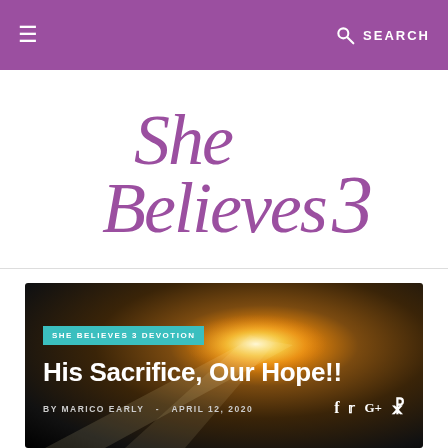≡  SEARCH
[Figure (logo): She Believes 3 logo in purple cursive/script font on white background]
[Figure (photo): Dark cave with a bright light shining through an opening, creating a dramatic ray of light]
SHE BELIEVES 3 DEVOTION
His Sacrifice, Our Hope!!
BY MARICO EARLY  -  APRIL 12, 2020